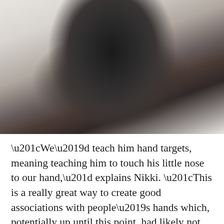[Figure (photo): A black pit bull type dog with a pink collar, looking directly at the camera, standing on a light-colored surface, photographed indoors with a blurred background.]
“We’d teach him hand targets, meaning teaching him to touch his little nose to our hand,” explains Nikki. “This is a really great way to create good associations with people’s hands which, potentially up until this point, had likely not brought good things for him.”